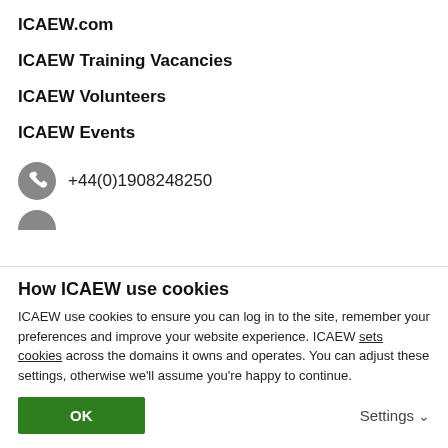ICAEW.com
ICAEW Training Vacancies
ICAEW Volunteers
ICAEW Events
+44(0)1908248250
How ICAEW use cookies
ICAEW use cookies to ensure you can log in to the site, remember your preferences and improve your website experience. ICAEW sets cookies across the domains it owns and operates. You can adjust these settings, otherwise we'll assume you're happy to continue.
OK
Settings